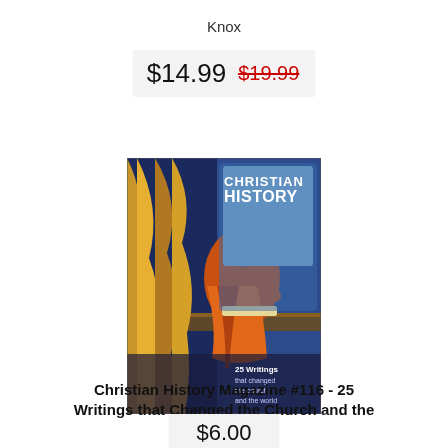Knox
$14.99  $19.99
[Figure (photo): Book cover of Christian History Magazine #116 showing a Renaissance-style painting of a saint or scholar writing, with golden curtain and blue architectural background. Title reads 'CHRISTIAN HISTORY' with subtitle '25 Writings that changed the church and the world'.]
Christian History Magazine #116 - 25 Writings that Changed the Church and the World
$6.00